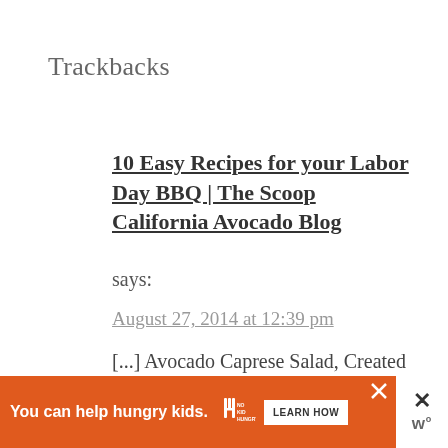Trackbacks
10 Easy Recipes for your Labor Day BBQ | The Scoop California Avocado Blog
says:
August 27, 2014 at 12:39 pm
[...] Avocado Caprese Salad, Created by Diane, is a quick and easy recipe to whip up for a snack! I would use toothpicks and stack the California [...]
Reply
[Figure (other): Orange advertisement banner: 'You can help hungry kids.' with No Kid Hungry logo and LEARN HOW button. Side panel with close X and stylized W logo.]